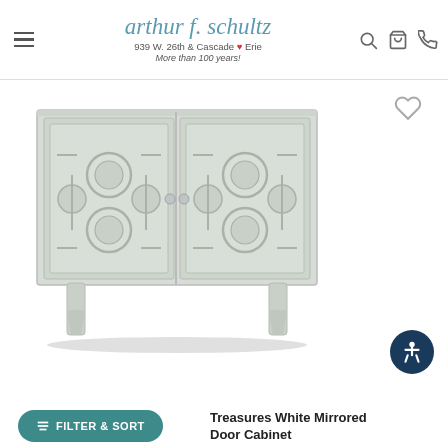arthur f. schultz — 939 W. 26th & Cascade Erie — More than 100 years!
[Figure (photo): A white/light grey mirrored two-door cabinet with decorative geometric fretwork on the doors, tapered legs, and small cabinet knobs. The cabinet has a distressed finish.]
Treasures White Mirrored Door Cabinet